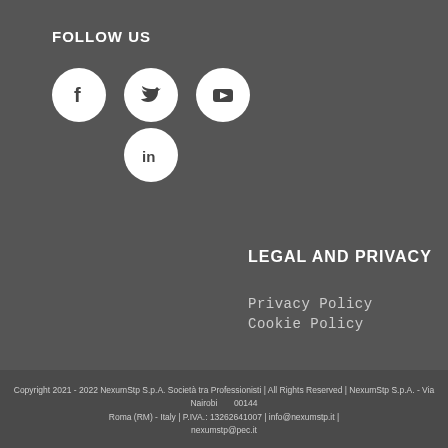FOLLOW US
[Figure (illustration): Social media icons: Facebook, Twitter, YouTube (top row), LinkedIn (bottom row) — white circles on dark background]
LEGAL AND PRIVACY
Privacy Policy
Cookie Policy
Copyright 2021 - 2022 NexumStp S.p.A. Società tra Professionisti | All Rights Reserved | NexumStp S.p.A. - Via Nairobi, 00144 Roma (RM) - Italy | P.IVA.: 13262641007 | info@nexumstp.it | nexumstp@pec.it